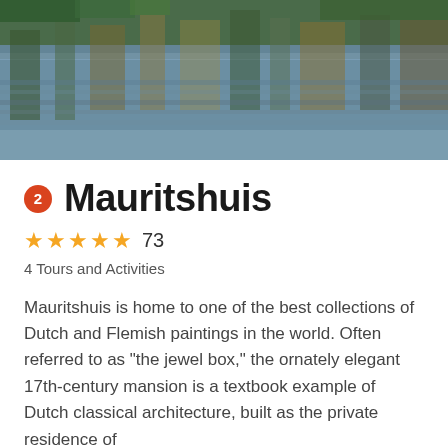[Figure (photo): Water reflection photo showing trees and foliage reflected in calm water with green and brown tones]
2 Mauritshuis
★★★★★ 73
4 Tours and Activities
Mauritshuis is home to one of the best collections of Dutch and Flemish paintings in the world. Often referred to as "the jewel box," the ornately elegant 17th-century mansion is a textbook example of Dutch classical architecture, built as the private residence of
Read More